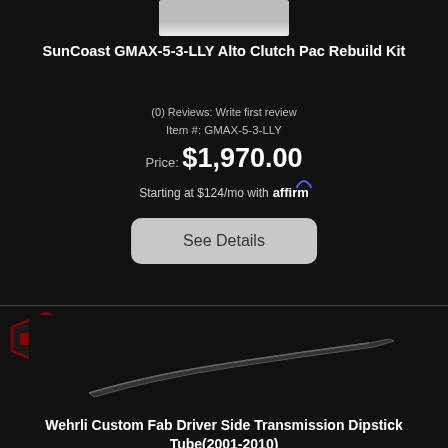[Figure (photo): Partial product image at top of page (cropped, showing bottom edge of product photo)]
SunCoast GMAX-5-3-LLY Alto Clutch Pac Rebuild Kit
(0) Reviews: Write first review
Item #: GMAX-5-3-LLY
Price: $1,970.00
Starting at $124/mo with affirm
See Details
[Figure (logo): Wehrli Custom Fab badge logo (hexagonal shape with red and white branding)]
[Figure (photo): Wehrli Custom Fab driver side transmission dipstick tube, dark metal part on black background]
Wehrli Custom Fab Driver Side Transmission Dipstick Tube(2001-2010)